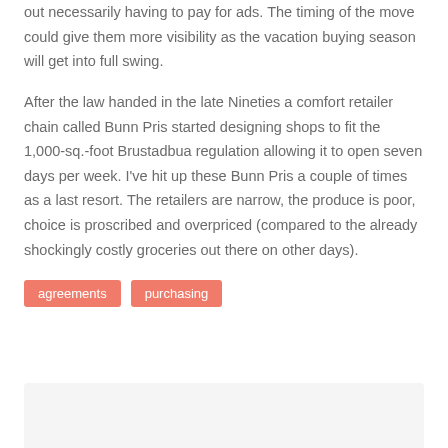out necessarily having to pay for ads. The timing of the move could give them more visibility as the vacation buying season will get into full swing.
After the law handed in the late Nineties a comfort retailer chain called Bunn Pris started designing shops to fit the 1,000-sq.-foot Brustadbua regulation allowing it to open seven days per week. I've hit up these Bunn Pris a couple of times as a last resort. The retailers are narrow, the produce is poor, choice is proscribed and overpriced (compared to the already shockingly costly groceries out there on other days).
agreements
purchasing